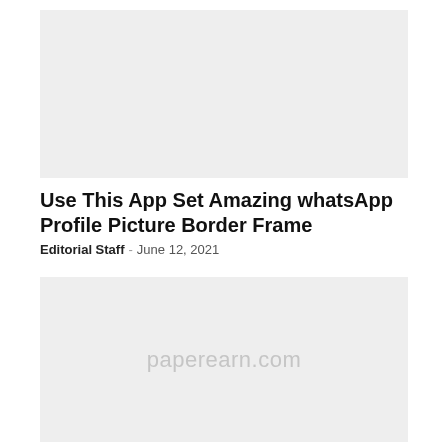[Figure (photo): Top image placeholder with light gray background]
Use This App Set Amazing whatsApp Profile Picture Border Frame
Editorial Staff · June 12, 2021
[Figure (photo): Bottom image placeholder with light gray background and paperearn.com watermark]